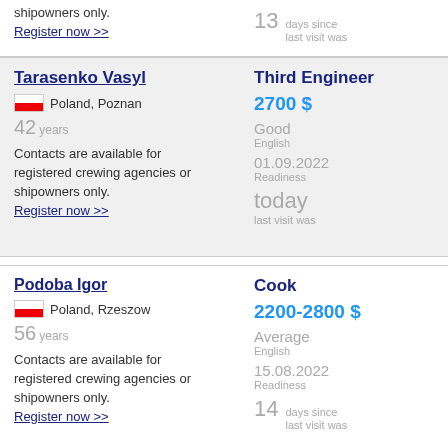shipowners only.
Register now >>
13 days since last visit was
Tarasenko Vasyl
Poland, Poznan
42 years
Contacts are available for registered crewing agencies or shipowners only. Register now >>
Third Engineer
2700 $
Good
English
01.09.2022
Readiness
today
last visit was
Podoba Igor
Poland, Rzeszow
56 years
Contacts are available for registered crewing agencies or shipowners only. Register now >>
Cook
2200-2800 $
Average
English
15.08.2022
Readiness
14 days since last visit was